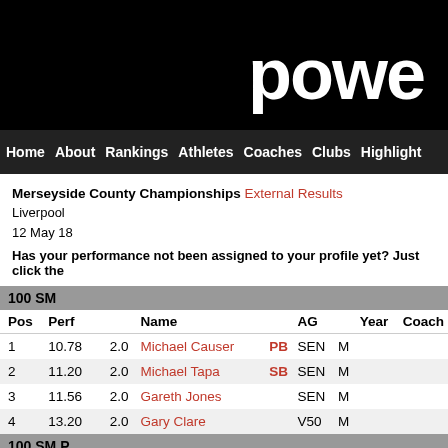powe
Home About Rankings Athletes Coaches Clubs Highlight
Merseyside County Championships External Results
Liverpool
12 May 18
Has your performance not been assigned to your profile yet? Just click the
100 SM
| Pos | Perf |  |  | Name |  | AG |  | Year | Coach |
| --- | --- | --- | --- | --- | --- | --- | --- | --- | --- |
| 1 | 10.78 |  | 2.0 | Michael Causer | PB | SEN | M |  |  |
| 2 | 11.20 |  | 2.0 | Michael Tapa | SB | SEN | M |  |  |
| 3 | 11.56 |  | 2.0 | Gareth Jones |  | SEN | M |  |  |
| 4 | 13.20 |  | 2.0 | Gary Clare |  | V50 | M |  |  |
100 SM P
| Pos | Perf |  |  | Name |  | AG |  | Year | Coach |
| --- | --- | --- | --- | --- | --- | --- | --- | --- | --- |
| 1 | 12.26 | w | 2.3 | Graeme Ballard T36/F36 | SB | V35 | M |  | Trevor R |